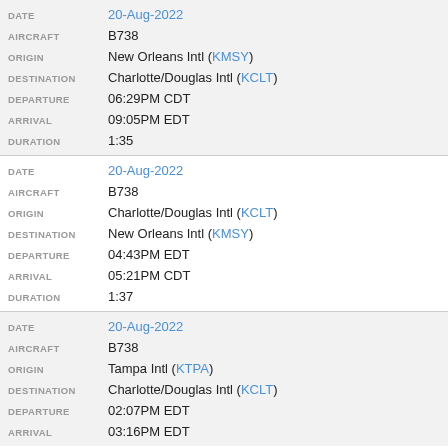| Field | Value |
| --- | --- |
| DATE | 20-Aug-2022 |
| AIRCRAFT | B738 |
| ORIGIN | New Orleans Intl (KMSY) |
| DESTINATION | Charlotte/Douglas Intl (KCLT) |
| DEPARTURE | 06:29PM CDT |
| ARRIVAL | 09:05PM EDT |
| DURATION | 1:35 |
| DATE | 20-Aug-2022 |
| AIRCRAFT | B738 |
| ORIGIN | Charlotte/Douglas Intl (KCLT) |
| DESTINATION | New Orleans Intl (KMSY) |
| DEPARTURE | 04:43PM EDT |
| ARRIVAL | 05:21PM CDT |
| DURATION | 1:37 |
| DATE | 20-Aug-2022 |
| AIRCRAFT | B738 |
| ORIGIN | Tampa Intl (KTPA) |
| DESTINATION | Charlotte/Douglas Intl (KCLT) |
| DEPARTURE | 02:07PM EDT |
| ARRIVAL | 03:16PM EDT |